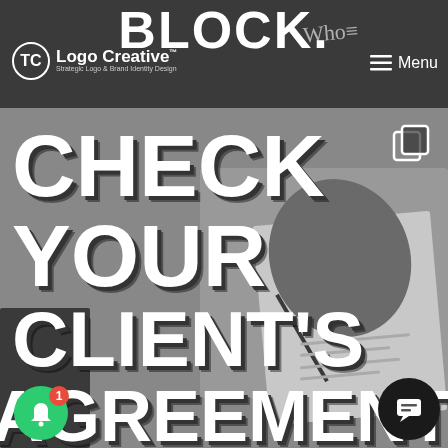[Figure (screenshot): Website header/navigation bar for Logo Creative with dark background, showing 'BLOCK.' text, Logo Creative logo with tagline 'Strategic Logo & Brand Identity Design', and Menu button on right.]
[Figure (infographic): Black and white photo of a person signing a document/contract, overlaid with large bold white text reading 'CHECK YOUR CLIENT'S AGREEMENT.' A copy icon appears top-right, a green notification bell with badge '1' at bottom-left, and a dark chat bubble icon at bottom-right.]